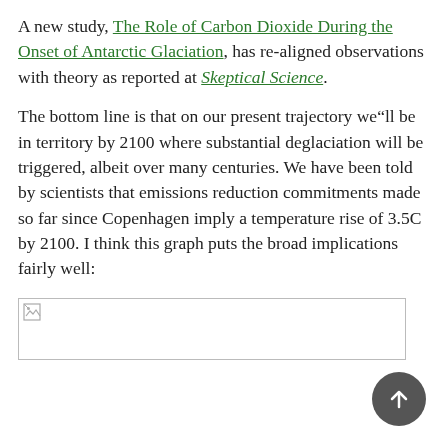A new study, The Role of Carbon Dioxide During the Onset of Antarctic Glaciation, has re-aligned observations with theory as reported at Skeptical Science.
The bottom line is that on our present trajectory we“ll be in territory by 2100 where substantial deglaciation will be triggered, albeit over many centuries. We have been told by scientists that emissions reduction commitments made so far since Copenhagen imply a temperature rise of 3.5C by 2100. I think this graph puts the broad implications fairly well:
[Figure (other): A broken/missing image placeholder showing a small broken image icon in the top-left corner, within a light-bordered rectangle.]